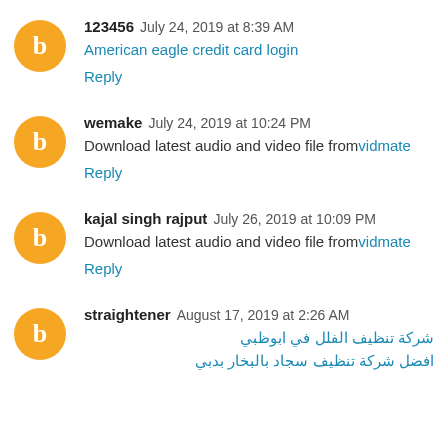123456  July 24, 2019 at 8:39 AM
American eagle credit card login
Reply
wemake  July 24, 2019 at 10:24 PM
Download latest audio and video file fromvidmate
Reply
kajal singh rajput  July 26, 2019 at 10:09 PM
Download latest audio and video file fromvidmate
Reply
straightener  August 17, 2019 at 2:26 AM
شركة تنظيف الفلل في ابوظبي
افضل شركة تنظيف سجاد بالبخار بدبي